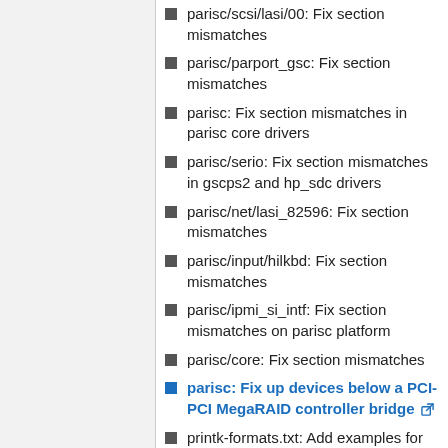parisc/scsi/lasi/00: Fix section mismatches
parisc/parport_gsc: Fix section mismatches
parisc: Fix section mismatches in parisc core drivers
parisc/serio: Fix section mismatches in gscps2 and hp_sdc drivers
parisc/net/lasi_82596: Fix section mismatches
parisc/input/hilkbd: Fix section mismatches
parisc/ipmi_si_intf: Fix section mismatches on parisc platform
parisc/core: Fix section mismatches
parisc: Fix up devices below a PCI-PCI MegaRAID controller bridge [link]
printk-formats.txt: Add examples for %pF and %pS usage
parisc: Optimize switch_mm
parisc: Fix too large frame size warnings
parisc: Stop unwinding at start of